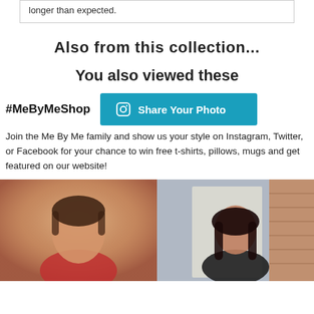longer than expected.
Also from this collection...
You also viewed these
#MeByMeShop
Share Your Photo
Join the Me By Me family and show us your style on Instagram, Twitter, or Facebook for your chance to win free t-shirts, pillows, mugs and get featured on our website!
[Figure (photo): Selfie of a person with short dark hair wearing a red top, yellow/warm background]
[Figure (photo): Person with long dark hair wearing a black t-shirt, standing in front of a door with brick wall]